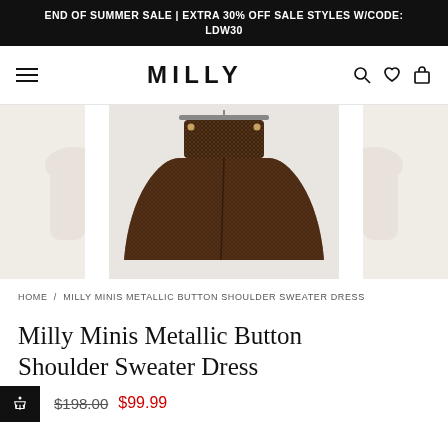END OF SUMMER SALE | EXTRA 30% OFF SALE STYLES W/CODE: LDW30
[Figure (screenshot): MILLY brand navigation bar with hamburger menu, MILLY logo, search icon, heart/wishlist icon, and bag icon]
[Figure (photo): Product photo of Milly Minis Metallic Button Shoulder Sweater Dress shown in dark brown metallic knit fabric on a hanger, with partial views of adjacent product images on either side]
HOME / MILLY MINIS METALLIC BUTTON SHOULDER SWEATER DRESS
Milly Minis Metallic Button Shoulder Sweater Dress
$198.00  $99.99